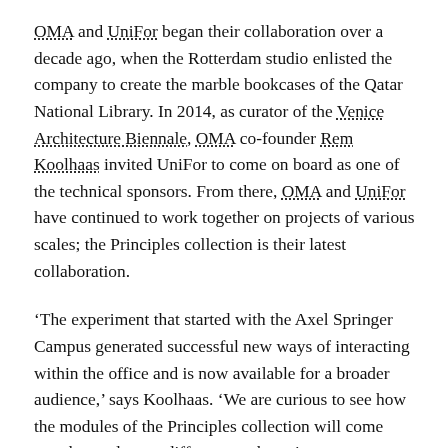OMA and UniFor began their collaboration over a decade ago, when the Rotterdam studio enlisted the company to create the marble bookcases of the Qatar National Library. In 2014, as curator of the Venice Architecture Biennale, OMA co-founder Rem Koolhaas invited UniFor to come on board as one of the technical sponsors. From there, OMA and UniFor have continued to work together on projects of various scales; the Principles collection is their latest collaboration.
‘The experiment that started with the Axel Springer Campus generated successful new ways of interacting within the office and is now available for a broader audience,’ says Koolhaas. ‘We are curious to see how the modules of the Principles collection will come together and serve different work environments globally.’